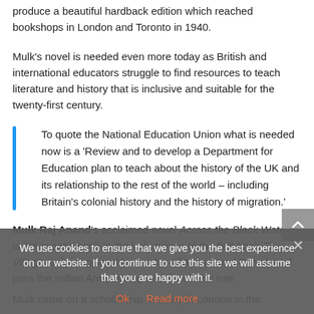produce a beautiful hardback edition which reached bookshops in London and Toronto in 1940.
Mulk's novel is needed even more today as British and international educators struggle to find resources to teach literature and history that is inclusive and suitable for the twenty-first century.
To quote the National Education Union what is needed now is a 'Review and to develop a Department for Education plan to teach about the history of the UK and its relationship to the rest of the world – including Britain's colonial history and the history of migration.'
Mulk Raj Anand's acclaimed novel Across the Black Waters is the second book in the Lalu trilogy. In the first book The Village, Lalu disgraced leaves his village in rural Panjab and joins the Indian Army during British colonial rule.
Mulk came on a scholarship to study in London in the
We use cookies to ensure that we give you the best experience on our website. If you continue to use this site we will assume that you are happy with it.